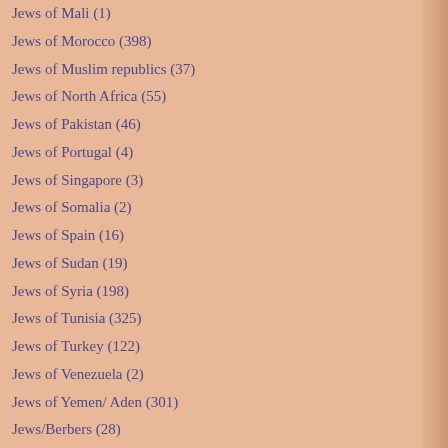Jews of Mali (1)
Jews of Morocco (398)
Jews of Muslim republics (37)
Jews of North Africa (55)
Jews of Pakistan (46)
Jews of Portugal (4)
Jews of Singapore (3)
Jews of Somalia (2)
Jews of Spain (16)
Jews of Sudan (19)
Jews of Syria (198)
Jews of Tunisia (325)
Jews of Turkey (122)
Jews of Venezuela (2)
Jews of Yemen/ Aden (301)
Jews/Berbers (28)
Judeo-Arab culture (324)
Judeo-Farsi culture (18)